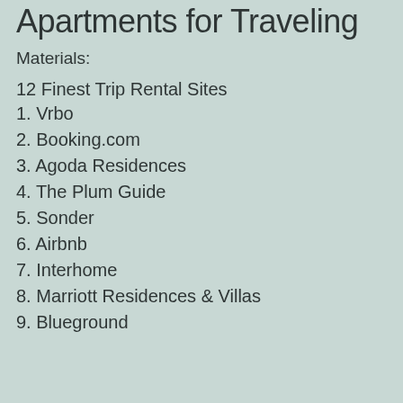Apartments for Traveling
Materials:
12 Finest Trip Rental Sites
1. Vrbo
2. Booking.com
3. Agoda Residences
4. The Plum Guide
5. Sonder
6. Airbnb
7. Interhome
8. Marriott Residences & Villas
9. Blueground